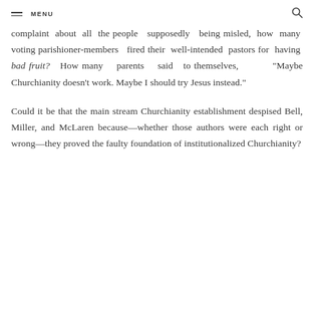MENU
complaint about all the people supposedly being misled, how many voting parishioner-members fired their well-intended pastors for having bad fruit? How many parents said to themselves, "Maybe Churchianity doesn't work. Maybe I should try Jesus instead."
Could it be that the main stream Churchianity establishment despised Bell, Miller, and McLaren because—whether those authors were each right or wrong—they proved the faulty foundation of institutionalized Churchianity?